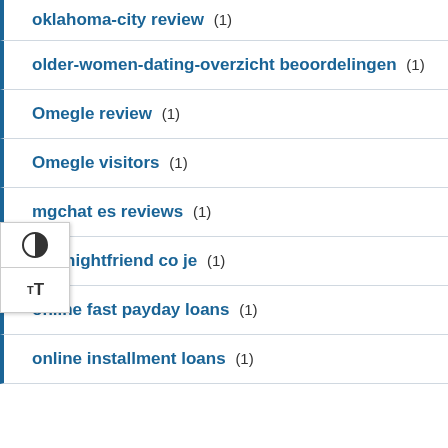oklahoma-city review (1)
older-women-dating-overzicht beoordelingen (1)
Omegle review (1)
Omegle visitors (1)
mgchat es reviews (1)
Onenightfriend co je (1)
online fast payday loans (1)
online installment loans (1)